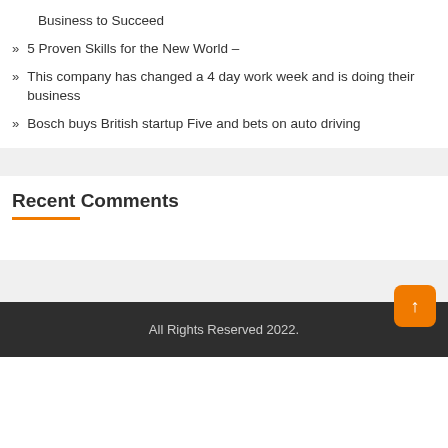Business to Succeed
5 Proven Skills for the New World –
This company has changed a 4 day work week and is doing their business
Bosch buys British startup Five and bets on auto driving
Recent Comments
All Rights Reserved 2022.